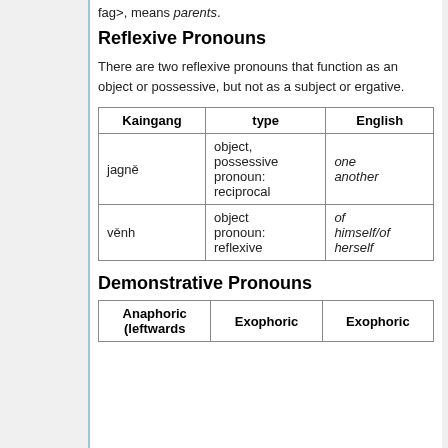fag>, means parents.
Reflexive Pronouns
There are two reflexive pronouns that function as an object or possessive, but not as a subject or ergative.
| Kaingang | type | English |
| --- | --- | --- |
| jagně | object, possessive pronoun: reciprocal | one another |
| věnh | object pronoun: reflexive | of himself/of herself |
Demonstrative Pronouns
| Anaphoric (leftwards | Exophoric | Exophoric |
| --- | --- | --- |